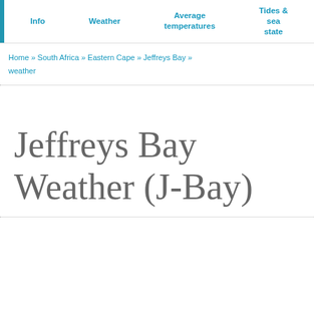Info | Weather | Average temperatures | Tides & sea state
Home » South Africa » Eastern Cape » Jeffreys Bay » weather
Jeffreys Bay Weather (J-Bay)